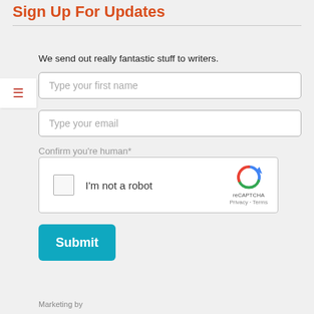Sign Up For Updates
We send out really fantastic stuff to writers.
Type your first name
Type your email
Confirm you're human*
[Figure (other): reCAPTCHA widget with checkbox labeled I'm not a robot, and reCAPTCHA logo with Privacy and Terms links]
Submit
Marketing by